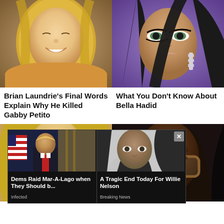[Figure (photo): Portrait photo of Gabby Petito, young blonde woman smiling, wearing yellow top, brown rocky background]
[Figure (photo): Portrait photo of Bella Hadid, dark hair, heavy eye makeup, dramatic look, purple background, wearing crystal earrings]
Brian Laundrie's Final Words Explain Why He Killed Gabby Petito
What You Don't Know About Bella Hadid
[Figure (photo): Close-up portrait of blonde woman, cropped at eyes and forehead]
[Figure (photo): Close-up portrait of Black woman with leopard print glasses]
[Figure (photo): Ad thumbnail: Donald Trump at desk with US flag, Oval Office setting]
Dems Raid Mar-A-Lago when They Should b...
Infected
[Figure (photo): Ad thumbnail: Willie Nelson, elderly man with long hair]
A Tragic End Today For Willie Nelson
Breaking News